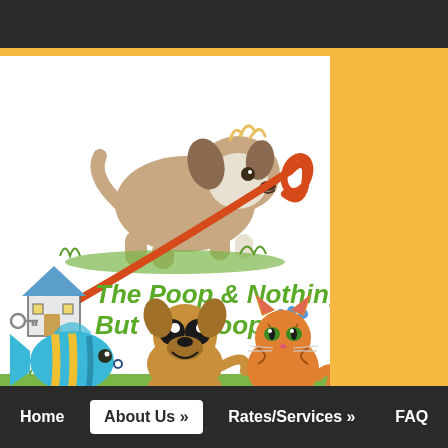[Figure (logo): Logo for 'The Poop & Nothing But The Poop' pet care service. Shows illustrated puppy at top on green grass, a house icon with a key/leash, the business name in green and blue text with a blue paw print, an orange/red leash arc, and three animals below (striped tropical fish, cartoon dog, orange tabby cat) on green grass. Bottom text reads 'Providing Personal Care for Your Pet' in white italic.]
Home | About Us » | Rates/Services » | FAQ